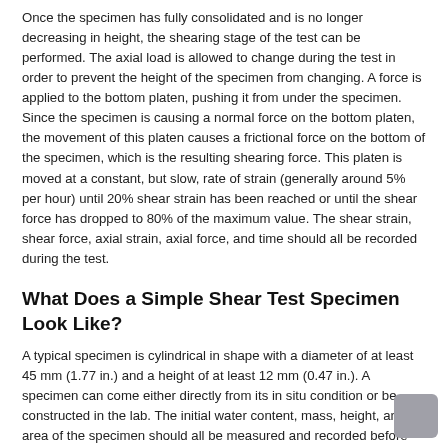Once the specimen has fully consolidated and is no longer decreasing in height, the shearing stage of the test can be performed. The axial load is allowed to change during the test in order to prevent the height of the specimen from changing. A force is applied to the bottom platen, pushing it from under the specimen. Since the specimen is causing a normal force on the bottom platen, the movement of this platen causes a frictional force on the bottom of the specimen, which is the resulting shearing force. This platen is moved at a constant, but slow, rate of strain (generally around 5% per hour) until 20% shear strain has been reached or until the shear force has dropped to 80% of the maximum value. The shear strain, shear force, axial strain, axial force, and time should all be recorded during the test.
What Does a Simple Shear Test Specimen Look Like?
A typical specimen is cylindrical in shape with a diameter of at least 45 mm (1.77 in.) and a height of at least 12 mm (0.47 in.). A specimen can come either directly from its in situ condition or be constructed in the lab. The initial water content, mass, height, and area of the specimen should all be measured and recorded before testing.